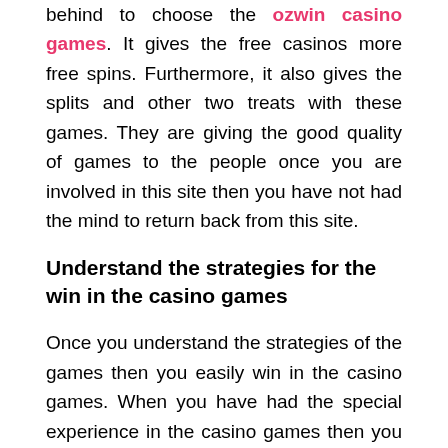behind to choose the ozwin casino games. It gives the free casinos more free spins. Furthermore, it also gives the splits and other two treats with these games. They are giving the good quality of games to the people once you are involved in this site then you have not had the mind to return back from this site.
Understand the strategies for the win in the casino games
Once you understand the strategies of the games then you easily win in the casino games. When you have had the special experience in the casino games then you easily get more advancement here. Most of the people have had things that the